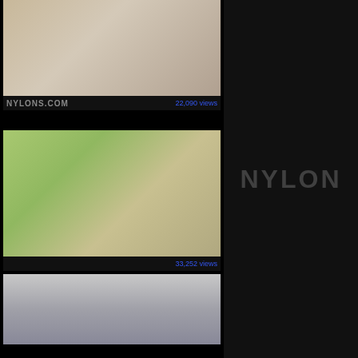[Figure (photo): Thumbnail image 1 with site logo bar showing NYLONS.COM and view count 22,090 views]
[Figure (photo): Thumbnail image 2 with view count 33,252 views]
[Figure (photo): Thumbnail image 3, partial view]
[Figure (logo): NYLON partial logo text on right dark panel]